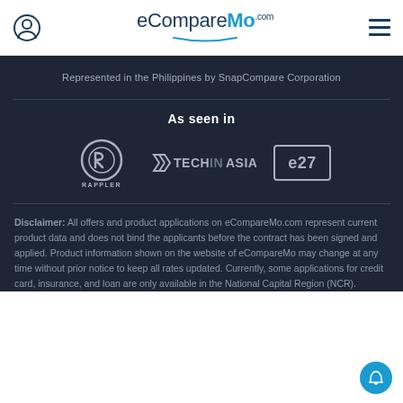eCompareMo.com
Represented in the Philippines by SnapCompare Corporation
As seen in
[Figure (logo): Rappler, TechInAsia, and e27 logos shown side by side in a dark background]
Disclaimer: All offers and product applications on eCompareMo.com represent current product data and does not bind the applicants before the contract has been signed and applied. Product information shown on the website of eCompareMo may change at any time without prior notice to keep all rates updated. Currently, some applications for credit card, insurance, and loan are only available in the National Capital Region (NCR).